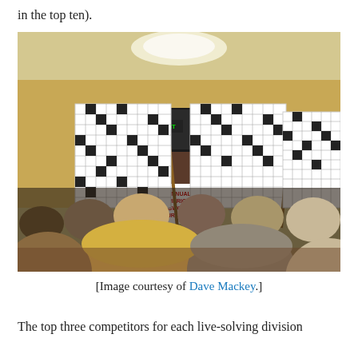in the top ten).
[Figure (photo): Indoor scene of the American Crossword Puzzle Tournament. Three competitors stand with their backs to the audience, each working on large crossword puzzle boards on easels. A sign reads 'Annual American Crossword Puzzle Tournament'. Audience members are seated in the foreground watching.]
[Image courtesy of Dave Mackey.]
The top three competitors for each live-solving division